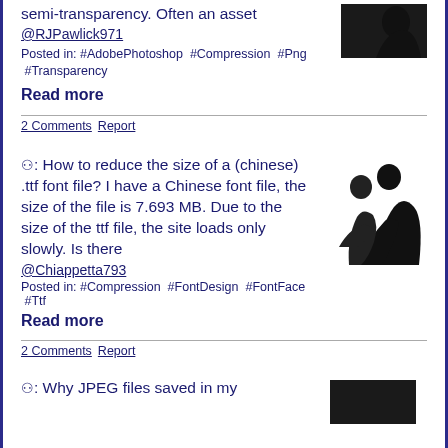semi-transparency. Often an asset @RJPawlick971
Posted in: #AdobePhotoshop #Compression #Png #Transparency
Read more
2 Comments Report
⚇: How to reduce the size of a (chinese) .ttf font file? I have a Chinese font file, the size of the file is 7.693 MB. Due to the size of the ttf file, the site loads only slowly. Is there @Chiappetta793
Posted in: #Compression #FontDesign #FontFace #Ttf
[Figure (illustration): Silhouette of two people, appears to be dancing or embracing, black on white background]
Read more
2 Comments Report
⚇: Why JPEG files saved in my